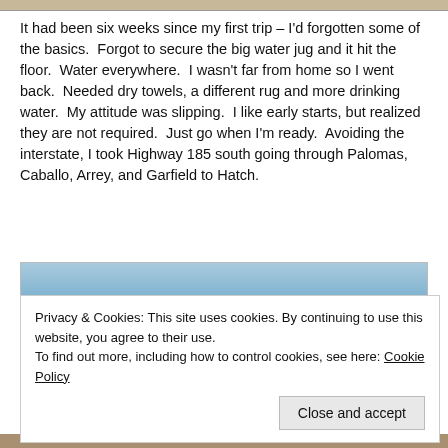[Figure (photo): Top image strip — partial landscape photo cropped at top edge]
It had been six weeks since my first trip – I'd forgotten some of the basics.  Forgot to secure the big water jug and it hit the floor.  Water everywhere.  I wasn't far from home so I went back.  Needed dry towels, a different rug and more drinking water.  My attitude was slipping.  I like early starts, but realized they are not required.  Just go when I'm ready.  Avoiding the interstate, I took Highway 185 south going through Palomas, Caballo, Arrey, and Garfield to Hatch.
[Figure (photo): Landscape photo showing blue sky and desert terrain near Hatch, New Mexico]
Privacy & Cookies: This site uses cookies. By continuing to use this website, you agree to their use.
To find out more, including how to control cookies, see here: Cookie Policy
Close and accept
[Figure (photo): Bottom strip — partial photo of cotton field or similar crop]